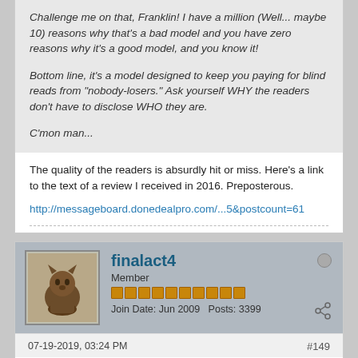Challenge me on that, Franklin! I have a million (Well... maybe 10) reasons why that's a bad model and you have zero reasons why it's a good model, and you know it!

Bottom line, it's a model designed to keep you paying for blind reads from "nobody-losers." Ask yourself WHY the readers don't have to disclose WHO they are.

C'mon man...
The quality of the readers is absurdly hit or miss. Here's a link to the text of a review I received in 2016. Preposterous.
http://messageboard.donedealpro.com/...5&postcount=61
finalact4
Member
Join Date: Jun 2009   Posts: 3399
07-19-2019, 03:24 PM
#149
Re: Franklin Leonard
Originally posted by Friday
The idea The Blacklist is best for a continuous reading of the...